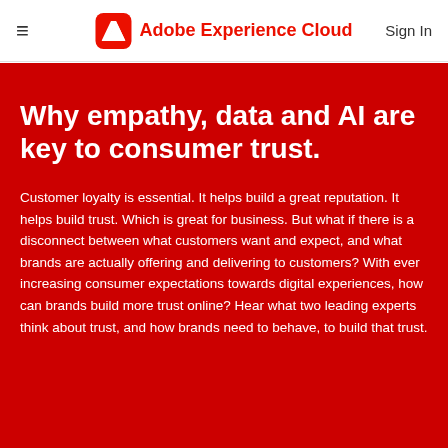≡  Adobe Experience Cloud  Sign In
Why empathy, data and AI are key to consumer trust.
Customer loyalty is essential. It helps build a great reputation. It helps build trust. Which is great for business. But what if there is a disconnect between what customers want and expect, and what brands are actually offering and delivering to customers? With ever increasing consumer expectations towards digital experiences, how can brands build more trust online? Hear what two leading experts think about trust, and how brands need to behave, to build that trust.